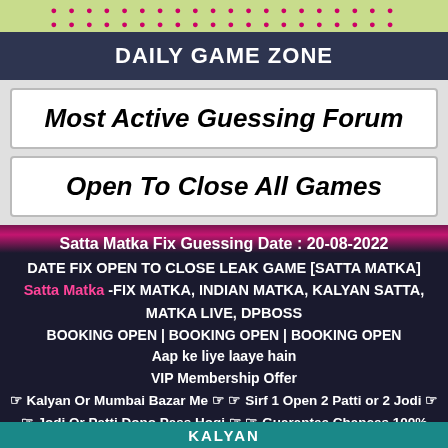● ● ● ● ● ● ● ● ● ● ● ● ● ● ● ● ● ● ● ●
DAILY GAME ZONE
Most Active Guessing Forum
Open To Close All Games
Satta Matka Fix Guessing Date : 20-08-2022
DATE FIX OPEN TO CLOSE LEAK GAME [SATTA MATKA] Satta Matka -FIX MATKA, INDIAN MATKA, KALYAN SATTA, MATKA LIVE, DPBOSS BOOKING OPEN | BOOKING OPEN | BOOKING OPEN Aap ke liye laaye hain VIP Membership Offer ☞ Kalyan Or Mumbai Bazar Me ☞ ☞ Sirf 1 Open 2 Patti or 2 Jodi ☞ ☞ Jodi Or Patti Dono Pass Hogi ☞ ☞ Guarantee Chances 100% Pass ☞ Jiska Advance Charg Rs. 3100/- Hoga ☎ 9303519374
KALYAN